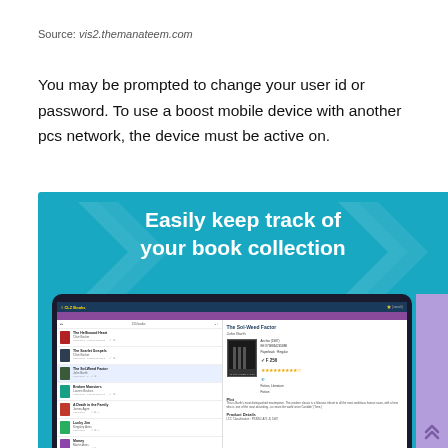Source: vis2.themanateem.com
You may be prompted to change your user id or password. To use a boost mobile device with another pcs network, the device must be active on.
[Figure (screenshot): Screenshot of CLZ Books app on a tablet showing a book collection list on the left and detail view of 'The Sol-Weed Factor' by John Barth on the right, with teal background and white text 'Easily keep track of your book collection']